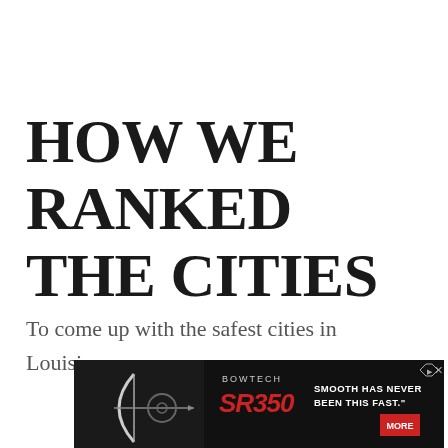HOW WE RANKED THE CITIES
To come up with the safest cities in Louisiana, we:
[Figure (other): Bowtech SR350 advertisement banner with bow image, brand logo, model name in red italic, and 'SMOOTH HAS NEVER BEEN THIS FAST.' slogan with MORE button]